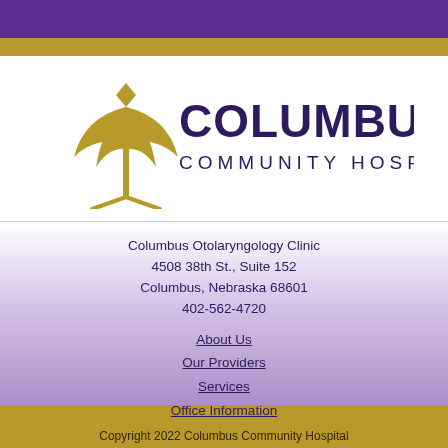[Figure (logo): Columbus Community Hospital logo with gold stylized plant/trident symbol and dark purple COLUMBUS COMMUNITY HOSPITAL text]
Columbus Otolaryngology Clinic
4508 38th St., Suite 152
Columbus, Nebraska 68601
402-562-4720
About Us
Our Providers
Services
Office Information
Copyright 2022 Columbus Community Hospital
All rights reserved Web Design by In10sity